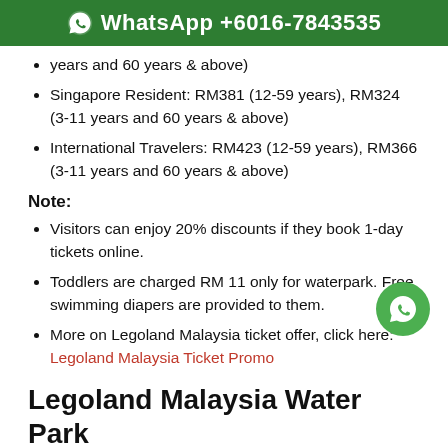WhatsApp +6016-7843535
years and 60 years & above)
Singapore Resident: RM381 (12-59 years), RM324 (3-11 years and 60 years & above)
International Travelers: RM423 (12-59 years), RM366 (3-11 years and 60 years & above)
Note:
Visitors can enjoy 20% discounts if they book 1-day tickets online.
Toddlers are charged RM 11 only for waterpark. Free swimming diapers are provided to them.
More on Legoland Malaysia ticket offer, click here: Legoland Malaysia Ticket Promo
Legoland Malaysia Water Park Ticket